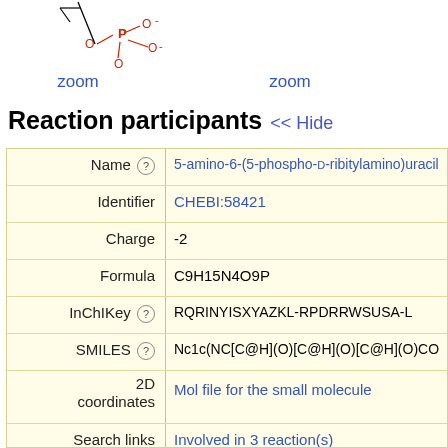[Figure (schematic): Chemical structure diagram of a phosphate-containing molecule (5-amino-6-(5-phospho-D-ribitylamino)uracil), showing P atom bonded to O atoms in red/dark red. Partial structure visible at top left.]
zoom
zoom
Reaction participants << Hide
| Field | Value |
| --- | --- |
| Name (?) | 5-amino-6-(5-phospho-D-ribitylamino)uracil |
| Identifier | CHEBI:58421 |
| Charge | -2 |
| Formula | C9H15N4O9P |
| InChIKey (?) | RQRINYISXYAZKL-RPDRRWSUSA-L |
| SMILES (?) | Nc1c(NC[C@H](O)[C@H](O)[C@H](O)CO... |
| 2D coordinates | Mol file for the small molecule |
| Search links | Involved in 3 reaction(s)
Find molecules that contain or resemble thi...
Find proteins in UniProtKB for this molecule... |